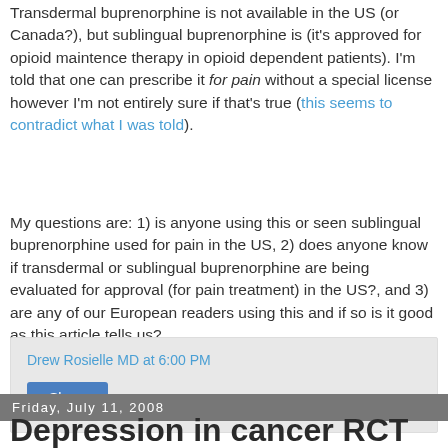Transdermal buprenorphine is not available in the US (or Canada?), but sublingual buprenorphine is (it's approved for opioid maintence therapy in opioid dependent patients). I'm told that one can prescribe it for pain without a special license however I'm not entirely sure if that's true (this seems to contradict what I was told).
My questions are: 1) is anyone using this or seen sublingual buprenorphine used for pain in the US, 2) does anyone know if transdermal or sublingual buprenorphine are being evaluated for approval (for pain treatment) in the US?, and 3) are any of our European readers using this and if so is it good as this article tells us?
Drew Rosielle MD at 6:00 PM
Share
Friday, July 11, 2008
Depression in cancer RCT